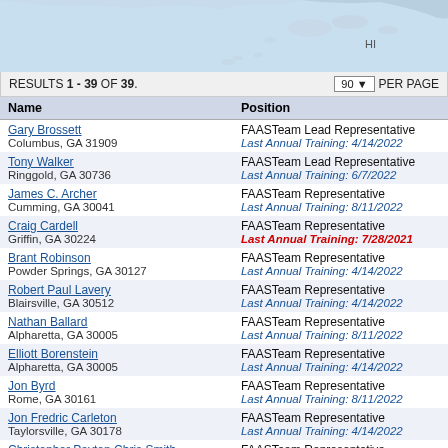[Figure (map): Partial map of US coastline/islands including HI label, light blue water and land areas]
RESULTS 1 - 39 OF 39.    90 v  PER PAGE
| Name | Position |
| --- | --- |
| Gary Brossett
Columbus, GA 31909 | FAASTeam Lead Representative
Last Annual Training: 4/14/2022 |
| Tony Walker
Ringgold, GA 30736 | FAASTeam Lead Representative
Last Annual Training: 6/7/2022 |
| James C. Archer
Cumming, GA 30041 | FAASTeam Representative
Last Annual Training: 8/11/2022 |
| Craig Cardell
Griffin, GA 30224 | FAASTeam Representative
Last Annual Training: 7/28/2021 |
| Brant Robinson
Powder Springs, GA 30127 | FAASTeam Representative
Last Annual Training: 4/14/2022 |
| Robert Paul Lavery
Blairsville, GA 30512 | FAASTeam Representative
Last Annual Training: 4/14/2022 |
| Nathan Ballard
Alpharetta, GA 30005 | FAASTeam Representative
Last Annual Training: 8/11/2022 |
| Elliott Borenstein
Alpharetta, GA 30005 | FAASTeam Representative
Last Annual Training: 4/14/2022 |
| Jon Byrd
Rome, GA 30161 | FAASTeam Representative
Last Annual Training: 8/11/2022 |
| Jon Fredric Carleton
Taylorsville, GA 30178 | FAASTeam Representative
Last Annual Training: 4/14/2022 |
| Christopher Payton Chris Smith
Auburn, GA 30011 | FAASTeam Representative
Last Annual Training: 7/14/2022 |